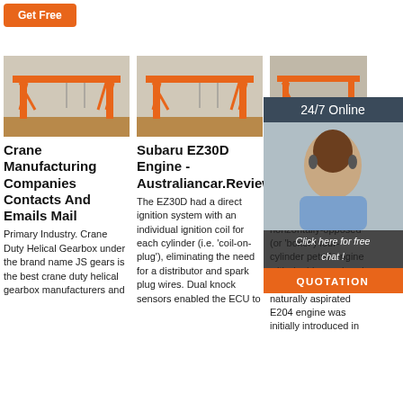Get Free
[Figure (photo): Orange gantry crane on a construction site - left column]
[Figure (photo): Orange gantry crane on a construction site - middle column]
[Figure (photo): 24/7 Online chat support woman with headset - right overlay]
Crane Manufacturing Companies Contacts And Emails Mail
Primary Industry. Crane Duty Helical Gearbox under the brand name JS gears is the best crane duty helical gearbox manufacturers and
Subaru EZ30D Engine - Australiancar.Reviews
The EZ30D had a direct ignition system with an individual ignition coil for each cylinder (i.e. 'coil-on-plug'), eliminating the need for a distributor and spark plug wires. Dual knock sensors enabled the ECU to
Subaru EZ30D Engine - Austra
The Subaru EZ204 was a 2.0-litre horizontally-opposed (or 'boxer') four-cylinder petrol engine with double overhead camshafts. The naturally aspirated E204 engine was initially introduced in